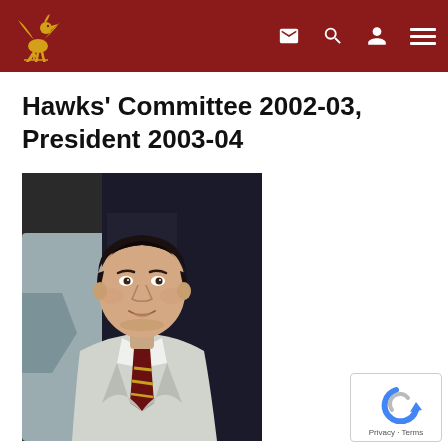Hawks' Committee 2002-03, President 2003-04 — navigation bar with Hawks logo, email, search, user, and menu icons
Hawks' Committee 2002-03, President 2003-04
[Figure (photo): Portrait photo of a young man with dark hair, wearing a light grey blazer and a dark striped tie (maroon/gold), photographed at a formal event. Another person in a grey jacket is partially visible to the left.]